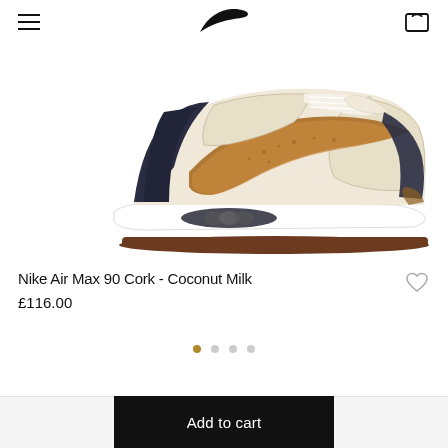Nike logo, hamburger menu, cart icon
[Figure (photo): Nike Air Max 90 Cork sneaker in Coconut Milk colorway, side profile view showing cream/off-white leather upper with brown cork swoosh logo, dark navy heel overlay, white midsole with Air Max bubble, and brown gum outsole]
Nike Air Max 90 Cork - Coconut Milk
£116.00